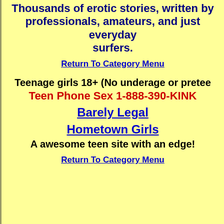Thousands of erotic stories, written by professionals, amateurs, and just everyday surfers.
Return To Category Menu
Teenage girls 18+ (No underage or preteen)
Teen Phone Sex 1-888-390-KINK
Barely Legal
Hometown Girls
A awesome teen site with an edge!
Return To Category Menu